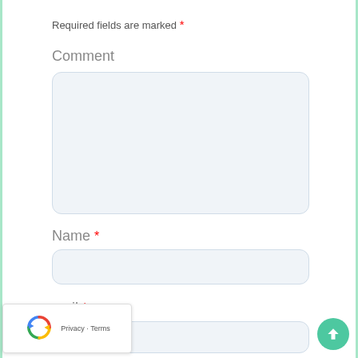Required fields are marked *
Comment
[Figure (other): Empty comment textarea input box with rounded corners and light blue-gray background]
Name *
[Figure (other): Empty name text input box with rounded corners and light blue-gray background]
mail *
[Figure (other): Empty email text input box with rounded corners and light blue-gray background]
[Figure (other): reCAPTCHA widget with circular arrows logo and Privacy - Terms text]
[Figure (other): Green circular scroll-to-top button with upward arrow]